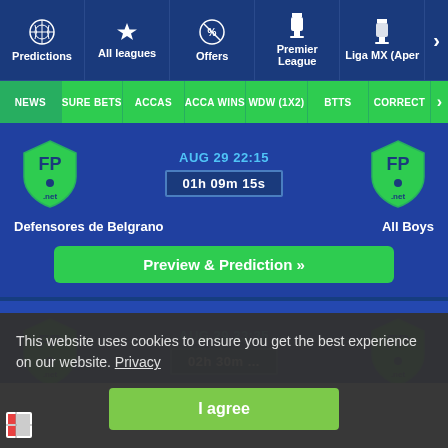Predictions | All leagues | Offers | Premier League | Liga MX (Aper
NEWS | SURE BETS | ACCAS | ACCA WINS | WDW (1X2) | BTTS | CORRECT
AUG 29 22:15
01h 09m 15s
Defensores de Belgrano
All Boys
Preview & Prediction »
AUG 29 23:35
This website uses cookies to ensure you get the best experience on our website. Privacy
I agree